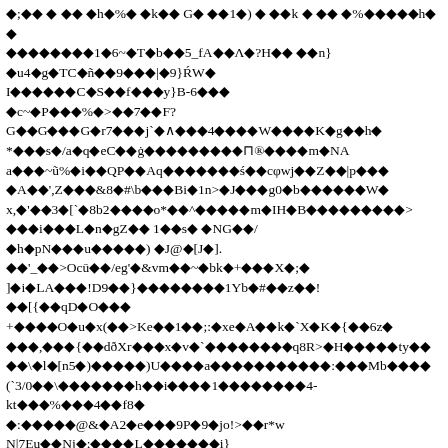◆;◆◆ ◆ ◆◆ ◆h◆%◆ ◆k◆◆ G◆ ◆◆1◆) ◆ ◆◆k ◆ ◆◆ ◆%◆◆◆◆◆h◆ ◆
◆◆◆◆◆◆◆◆1◆6~◆T◆b◆◆5_fA◆◆Λ◆?H◆◆ ◆◆n}
◆u4◆g◆TC◆ñ◆◆9◆◆◆|◆9}ŔW◆
I◆◆◆◆◆◆C◆S◆◆f◆◆◆y}B-6◆◆◆
◆c~◆P◆◆◆%◆>◆◆7◆◆F?
G◆◆G◆◆◆G◆r7◆◆◆j`◆∧◆◆◆4◆◆◆◆W◆◆◆◆K◆g◆◆h◆
*◆◆◆s◆/a◆q◆eC◆◆ġ◆◆◆◆◆◆◆◆◆⊓®◆◆◆◆m◆NA
a◆◆◆~ũ%◆i◆◆QP◆◆Aq◆◆◆◆◆◆◆ś◆◆cφwj◆◆Z◆◆|p◆◆◆
◆A◆◆',Z◆◆◆&8◆#◆◆◆Bi◆1n>◆J◆◆◆g0◆b◆◆◆◆◆◆W◆
x,◆'◆◆3◆[`◆8b2◆◆◆◆o*◆◆^◆◆◆◆◆m◆IH◆B◆◆◆◆◆◆◆◆◆>
◆◆◆i◆◆◆L◆n◆gZ◆◆ 1◆◆s◆ ◆NG◆◆/
◆h◆pN◆◆◆u◆◆◆◆◆) ◆J@◆[J◆].
◆◆'_◆◆>Ocū◆◆/eg'◆&vm◆◆~◆bk◆+◆◆◆X◆;◆
]◆i◆LA◆◆◆!D9◆◆}◆◆◆◆◆◆◆◆1Yb◆#◆◆z◆◆!
◆◆[{◆◆qD◆O◆◆◆
+◆◆◆◆O◆u◆x(◆◆>Ke◆◆1◆◆;:◆xe◆A◆◆k◆`X◆K◆{◆◆6z◆
◆◆◆,◆◆◆{◆◆dðXr◆◆◆x◆v◆`◆◆◆◆◆◆◆◆q8R>◆H◆◆◆◆◆ty◆◆
◆◆\◆l◆[n5◆)◆◆◆◆◆)U◆◆◆◆a◆◆◆◆◆◆◆◆◆◆◆:◆◆◆Mb◆◆◆◆
(`3/0◆◆\◆◆◆◆◆◆◆h◆◆i◆◆◆◆1◆◆◆◆◆◆◆◆4-
kt◆◆◆%◆◆◆4◆◆f8◆
◆:◆◆◆◆◆@&◆A2◆e◆◆◆9P◆9◆jo!>◆◆r*w
N|7Eu◆◆Nj◆;◆◆◆◆L◆◆◆◆◆◆◆i}
◆r*◆◆◆◆◆◆◆7gB∧>'◆◆◆◆:◆◆E◆◆z◆ж◆◆◆◆`0M>◆{◆◆>
◆◆3◆◆W,B◆◆